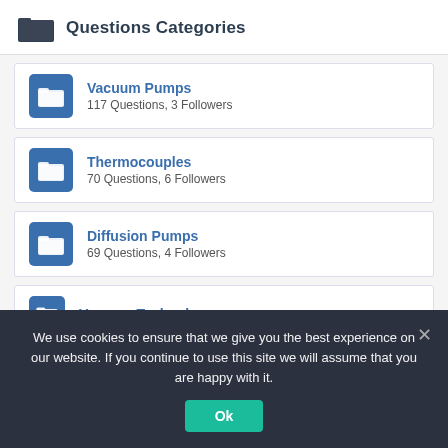Questions Categories
Vacuum Pumps — 117 Questions, 3 Followers
Thermocouples — 70 Questions, 6 Followers
Diffusion Pumps — 69 Questions, 4 Followers
Vacuum Technology
We use cookies to ensure that we give you the best experience on our website. If you continue to use this site we will assume that you are happy with it.